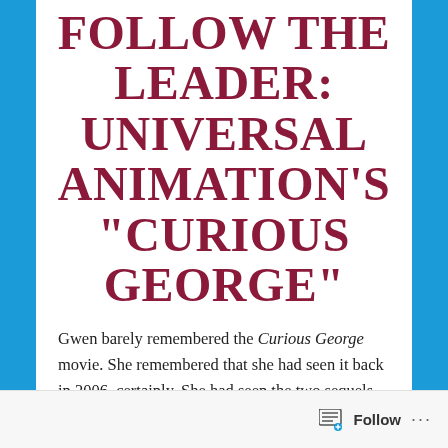FOLLOW THE LEADER: UNIVERSAL ANIMATION'S “CURIOUS GEORGE”
Gwen barely remembered the Curious George movie. She remembered that she had seen it back in 2006, certainly. She had seen the two sequels, both direct-to-DVD fare that Hazel had enjoyed. She was tangentially aware of the TV show the film had spawned, and did recall the
Follow